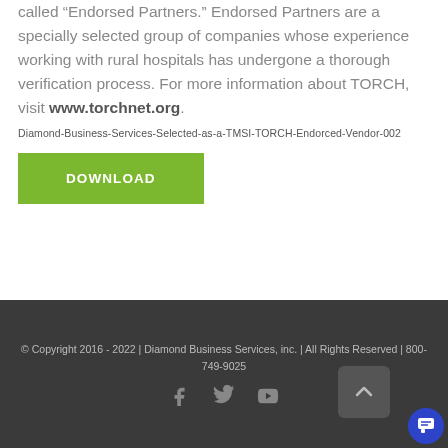called “Endorsed Partners.” Endorsed Partners are a specially selected group of companies whose experience working with rural hospitals has undergone a thorough verification process. For more information about TORCH, visit www.torchnet.org.
Diamond-Business-Services-Selected-as-a-TMSI-TORCH-Endorced-Vendor-002
[Figure (other): Green DOWNLOAD button]
© Copyright 2016 - 2022 | Diamond Business Services, inc. | All Rights Reserved | 800-749-9025